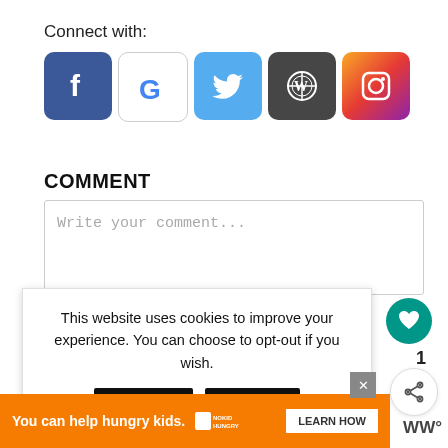Connect with:
[Figure (infographic): Social media connect icons: Facebook (blue), Google (white with G logo), Twitter (light blue with bird), WordPress (dark grey), Instagram (gradient camera)]
COMMENT
[Figure (screenshot): Comment text area with placeholder text 'Write your comment...']
This website uses cookies to improve your experience. You can choose to opt-out if you wish.
Accept
Reject
Read More
You can help hungry kids.
LEARN HOW